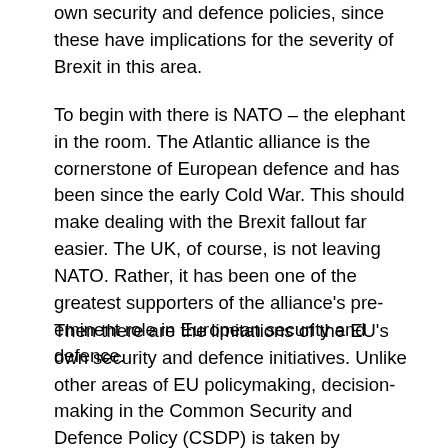own security and defence policies, since these have implications for the severity of Brexit in this area.
To begin with there is NATO – the elephant in the room. The Atlantic alliance is the cornerstone of European defence and has been since the early Cold War. This should make dealing with the Brexit fallout far easier. The UK, of course, is not leaving NATO. Rather, it has been one of the greatest supporters of the alliance's pre-eminent role in European security and defence.
Then there are the limitations of the EU's own security and defence initiatives. Unlike other areas of EU policymaking, decision-making in the Common Security and Defence Policy (CSDP) is taken by unanimity, and the community institutions hold a more limited role. Given the emphasis on unanimity, post-Brexit collaboration is easier to envisage that it is in core areas of the EU single market which are governed by Community law.